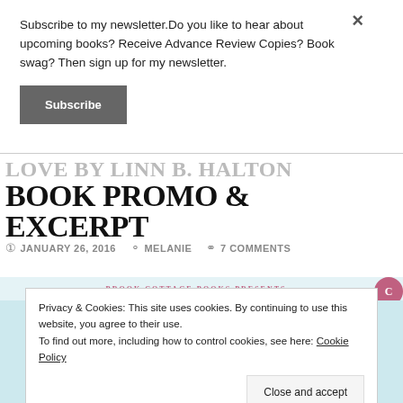Subscribe to my newsletter.Do you like to hear about upcoming books? Receive Advance Review Copies? Book swag? Then sign up for my newsletter.
Subscribe
LOVE BY LINN B. HALTON BOOK PROMO & EXCERPT
JANUARY 26, 2016  MELANIE  7 COMMENTS
[Figure (screenshot): Brook Cottage Books Presents banner with book cover image for Linn B. Halton]
Privacy & Cookies: This site uses cookies. By continuing to use this website, you agree to their use.
To find out more, including how to control cookies, see here: Cookie Policy
Close and accept